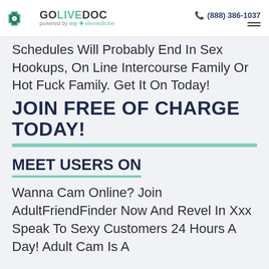GOLIVEDOC powered by my+elemedicine | (888) 386-1037
Schedules Will Probably End In Sex Hookups, On Line Intercourse Family Or Hot Fuck Family. Get It On Today!
JOIN FREE OF CHARGE TODAY!
MEET USERS ON
Wanna Cam Online? Join AdultFriendFinder Now And Revel In Xxx Speak To Sexy Customers 24 Hours A Day! Adult Cam Is A